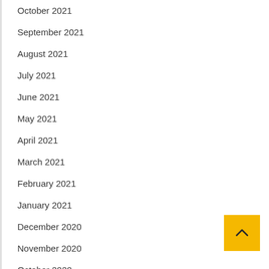October 2021
September 2021
August 2021
July 2021
June 2021
May 2021
April 2021
March 2021
February 2021
January 2021
December 2020
November 2020
October 2020
November 2018
[Figure (other): Yellow back-to-top button with upward chevron arrow in bottom right corner]